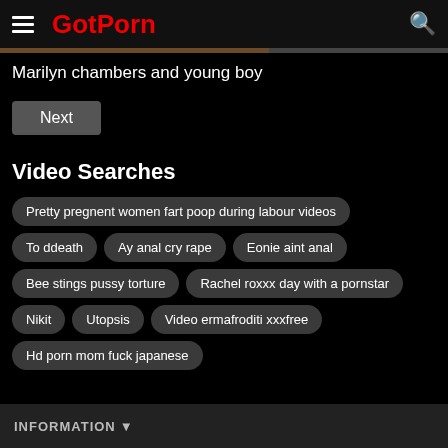GotPorn
Marilyn chambers and young boy
Next
Video Searches
Pretty pregnent women fart poop during labour videos
To ddeath
Ay anal cry rape
Eonie aint anal
Bee stings pussy torture
Rachel roxxx day with a pornstar
Nikit
Utopsis
Video ermafroditi xxxfree
Hd porn mom fuck japanese
INFORMATION